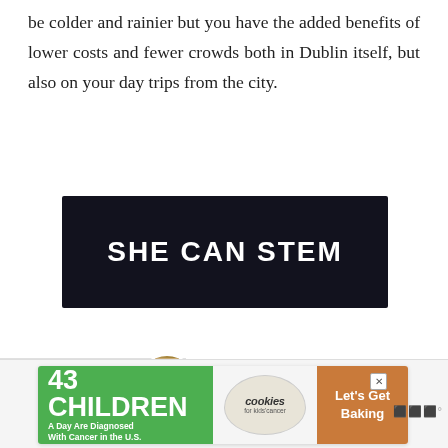be colder and rainier but you have the added benefits of lower costs and fewer crowds both in Dublin itself, but also on your day trips from the city.
[Figure (illustration): Dark banner advertisement with white bold text reading SHE CAN STEM on a dark/black speckled background]
[Figure (infographic): Green circular heart/like button showing count of 4, and a share icon button below it]
4
WHAT'S NEXT → Dublin Weekend...
[Figure (photo): Circular thumbnail image for Dublin Weekend article]
[Figure (illustration): Bottom advertisement: 43 CHILDREN A Day Are Diagnosed With Cancer in the U.S. cookies for kids cancer Let's Get Baking]